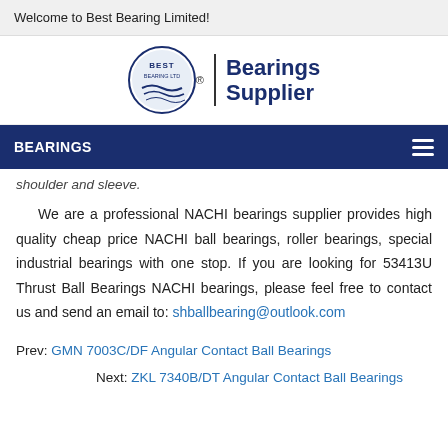Welcome to Best Bearing Limited!
[Figure (logo): Best Bearing Ltd logo with circular emblem and 'Bearings Supplier' text]
BEARINGS
shoulder and sleeve.
We are a professional NACHI bearings supplier provides high quality cheap price NACHI ball bearings, roller bearings, special industrial bearings with one stop. If you are looking for 53413U Thrust Ball Bearings NACHI bearings, please feel free to contact us and send an email to: shballbearing@outlook.com
Prev: GMN 7003C/DF Angular Contact Ball Bearings
Next: ZKL 7340B/DT Angular Contact Ball Bearings